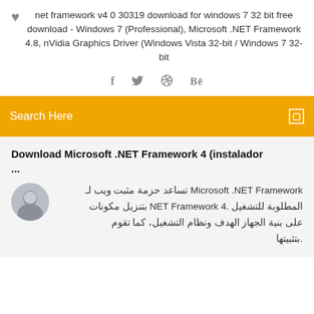♥ net framework v4 0 30319 download for windows 7 32 bit free download - Windows 7 (Professional), Microsoft .NET Framework 4.8, nVidia Graphics Driver (Windows Vista 32-bit / Windows 7 32-bit
[Figure (infographic): Social sharing icons: Facebook (f), Twitter (bird), dribbble, Behance (Be)]
Search Here
Download Microsoft .NET Framework 4 (instalador ...
Microsoft .NET Framework تساعد حزمة مثبت ويب لـ المطلوبة للتشغيل .NET Framework 4 بتنزيل مكونات على بنية الجهاز الهدف ونظام التشغيل، كما تقوم .بتثبيتها